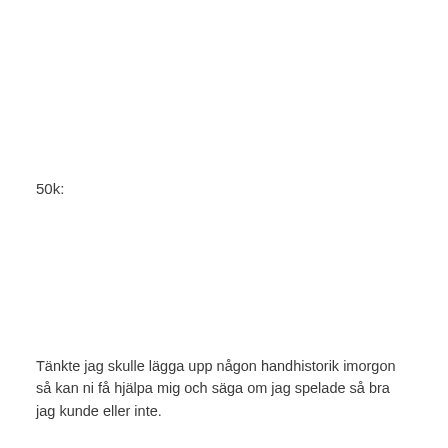50k:
Tänkte jag skulle lägga upp någon handhistorik imorgon så kan ni få hjälpa mig och säga om jag spelade så bra jag kunde eller inte.